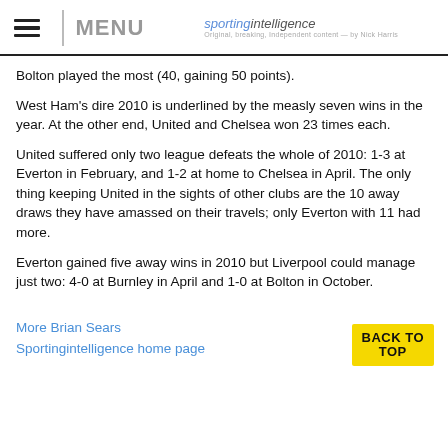MENU | sportingintelligence
Bolton played the most (40, gaining 50 points).
West Ham's dire 2010 is underlined by the measly seven wins in the year. At the other end, United and Chelsea won 23 times each.
United suffered only two league defeats the whole of 2010: 1-3 at Everton in February, and 1-2 at home to Chelsea in April. The only thing keeping United in the sights of other clubs are the 10 away draws they have amassed on their travels; only Everton with 11 had more.
Everton gained five away wins in 2010 but Liverpool could manage just two: 4-0 at Burnley in April and 1-0 at Bolton in October.
More Brian Sears
Sportingintelligence home page